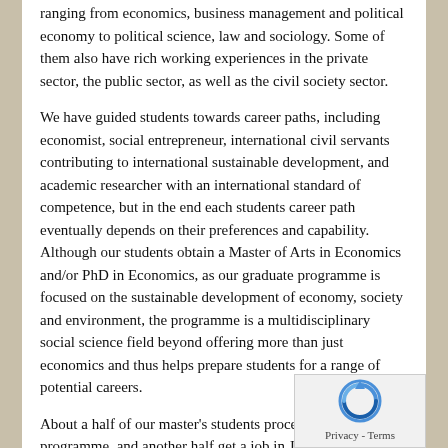ranging from economics, business management and political economy to political science, law and sociology. Some of them also have rich working experiences in the private sector, the public sector, as well as the civil society sector.
We have guided students towards career paths, including economist, social entrepreneur, international civil servants contributing to international sustainable development, and academic researcher with an international standard of competence, but in the end each students career path eventually depends on their preferences and capability. Although our students obtain a Master of Arts in Economics and/or PhD in Economics, as our graduate programme is focused on the sustainable development of economy, society and environment, the programme is a multidisciplinary social science field beyond offering more than just economics and thus helps prepare students for a range of potential careers.
About a half of our master's students proceed to our doctoral programme, and another half get a job in Japan or in their home countries, as listed below.
Private sectors such as;
Sumitomo Mitsui Banking Corporation
Bank of Tokyo-Mitsubishi UFJ